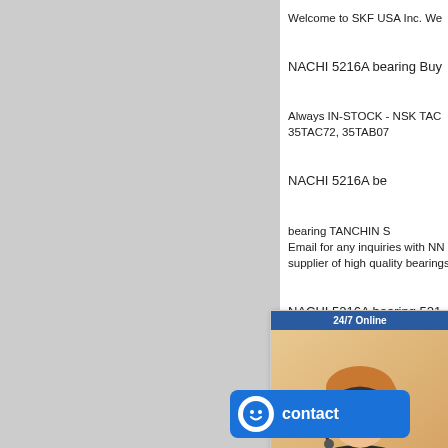[Figure (screenshot): Gray left panel occupying left portion of page]
Welcome to SKF USA Inc. We
NACHI 5216A bearing Buy
Always IN-STOCK - NSK TAC
35TAC72, 35TAB07
NACHI 5216A be
bearing TANCHIN S
Email for any inquiries with NN
supplier of high quality bearings
NACHI 5216A bearing 521
NACHI 5214N bearing NACHI
raw ma
any brand bearings currently in
[Figure (screenshot): 24/7 Online popup with woman wearing headset, quotation button]
[Figure (screenshot): Blue contact button with smiley icon]